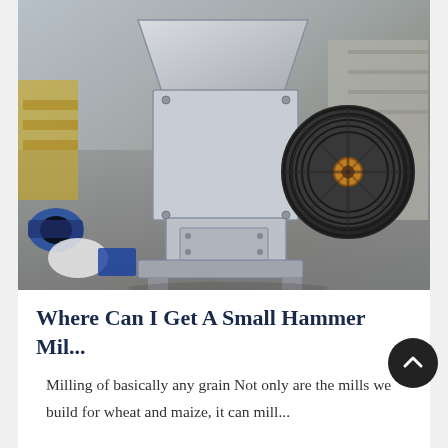[Figure (photo): Photograph of a large industrial hammer mill machine (silver/grey metal body with a black belt-drive pulley wheel on the right side) sitting in a workshop/factory floor with various metal parts and equipment visible in the background.]
Where Can I Get A Small Hammer Mil...
Milling of basically any grain Not only are the mills we build for wheat and maize, it can mill...
Related Blog